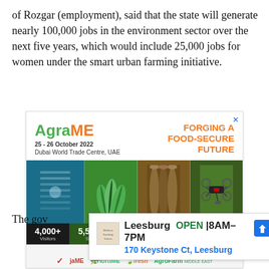of Rozgar (employment), said that the state will generate nearly 100,000 jobs in the environment sector over the next five years, which would include 25,000 jobs for women under the smart urban farming initiative.
[Figure (infographic): AgraME advertisement banner: 25-26 October 2022, Dubai World Trade Centre, UAE. Forging a Food-Secure Future. Stats: 4,000+ Visitors, 5,541+ SQM, 120 Exhibitors, 20+ Sessions, 4 sectors. Co-located with HortiME, AgroFresh, AgroFarm Middle East.]
[Figure (infographic): Google Maps local business ad: Leesburg OPEN 8AM-7PM, 170 Keystone Ct, Leesburg. Modern Farming Farmers logo.]
The gov